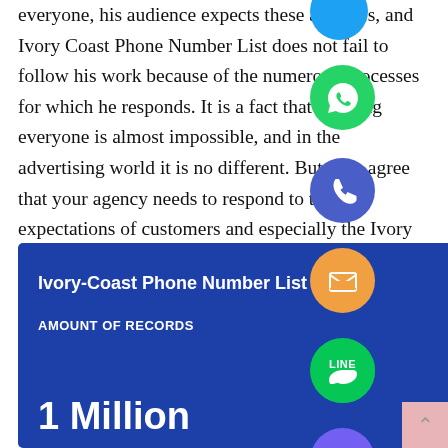everyone, his audience expects these attitudes, and Ivory Coast Phone Number List does not fail to follow his work because of the numerous processes for which he responds. It is a fact that pleasing everyone is almost impossible, and in the advertising world it is no different. But, let's agree that your agency needs to respond to the expectations of customers and especially the Ivory Coast Phone Number List target audience, in this case, the ideal is that your work has an identity and that it is aligned with your profile.
[Figure (infographic): Advertisement banner for Ivory Coast Phone Number List. Blue background with white text. Shows 'Recently Updated' tag, title 'Ivory-Coast Phone Number List', 'AMOUNT OF RECORDS' label, '1 Million' in large white text, and a price box showing PRICE $2,500 (strikethrough) and New Price.]